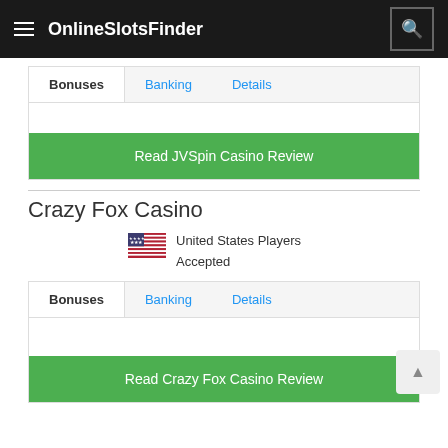OnlineSlotsFinder
Bonuses | Banking | Details
Read JVSpin Casino Review
Crazy Fox Casino
United States Players Accepted
Bonuses | Banking | Details
Read Crazy Fox Casino Review